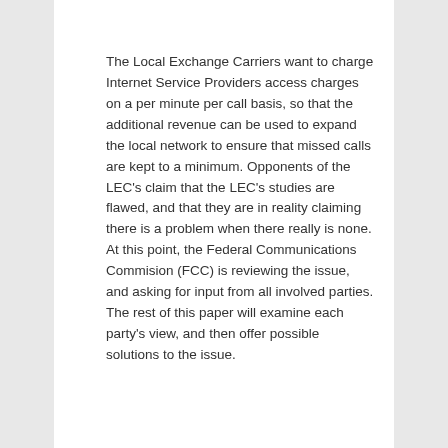The Local Exchange Carriers want to charge Internet Service Providers access charges on a per minute per call basis, so that the additional revenue can be used to expand the local network to ensure that missed calls are kept to a minimum. Opponents of the LEC's claim that the LEC's studies are flawed, and that they are in reality claiming there is a problem when there really is none. At this point, the Federal Communications Commision (FCC) is reviewing the issue, and asking for input from all involved parties. The rest of this paper will examine each party's view, and then offer possible solutions to the issue.